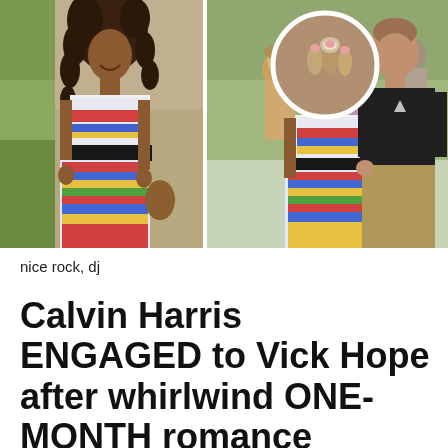[Figure (photo): Photo collage showing three images: left - a woman with long curly hair wearing a colorful floral crop top and skirt outfit; center top - a circular inset close-up of a ring on fingers; right - the same woman walking with a tall man in a black t-shirt and khaki pants, both smiling and holding hands.]
nice rock, dj
Calvin Harris ENGAGED to Vick Hope after whirlwind ONE-MONTH romance